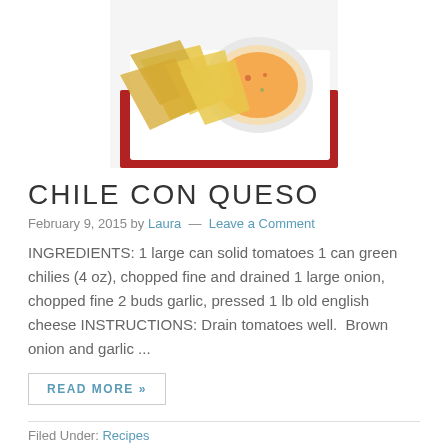[Figure (photo): Food photo showing tortilla chips beside a bowl of chile con queso dip on a red plate/tray]
CHILE CON QUESO
February 9, 2015 by Laura — Leave a Comment
INGREDIENTS: 1 large can solid tomatoes 1 can green chilies (4 oz), chopped fine and drained 1 large onion, chopped fine 2 buds garlic, pressed 1 lb old english cheese INSTRUCTIONS: Drain tomatoes well.  Brown onion and garlic ...
READ MORE »
Filed Under: Recipes